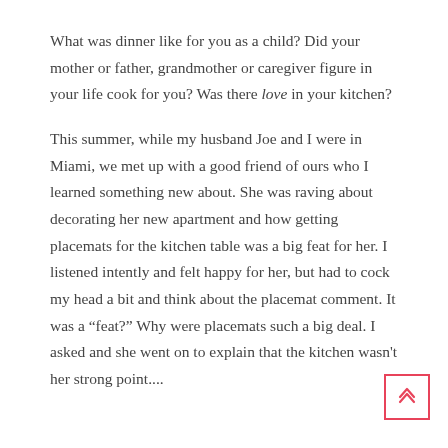What was dinner like for you as a child? Did your mother or father, grandmother or caregiver figure in your life cook for you? Was there love in your kitchen?
This summer, while my husband Joe and I were in Miami, we met up with a good friend of ours who I learned something new about. She was raving about decorating her new apartment and how getting placemats for the kitchen table was a big feat for her. I listened intently and felt happy for her, but had to cock my head a bit and think about the placemat comment. It was a “feat?” Why were placemats such a big deal. I asked and she went on to explain that the kitchen wasn't her strong point....